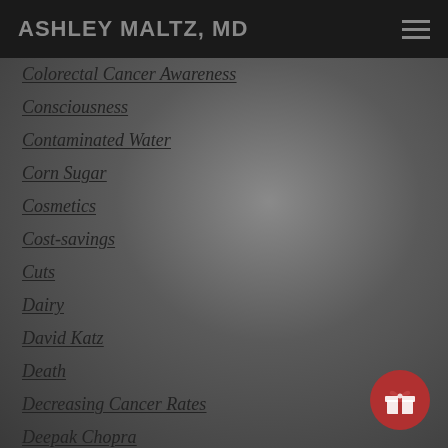ASHLEY MALTZ, MD
Colorectal Cancer Awareness
Consciousness
Contaminated Water
Corn Sugar
Cosmetics
Cost-savings
Cuts
Dairy
David Katz
Death
Decreasing Cancer Rates
Deepak Chopra
Depression
Diabetes
Dietary Supplements
Diet For Adhd
Diet For Cancer Prevention (partially visible)